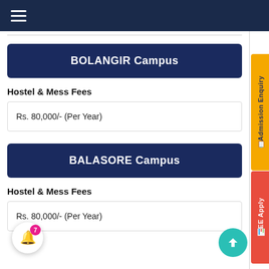BOLANGIR Campus
Hostel & Mess Fees
Rs. 80,000/- (Per Year)
BALASORE Campus
Hostel & Mess Fees
Rs. 80,000/- (Per Year)